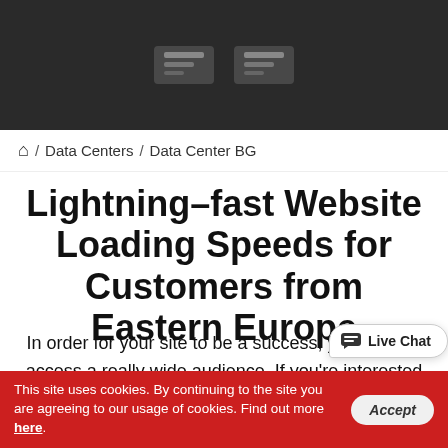[Figure (screenshot): Dark hero banner with a light-colored logo/graphic on dark background]
🏠 / Data Centers / Data Center BG
Lightning–fast Website Loading Speeds for Customers from Eastern Europe
In order for your site to be a success, you need to access a really wide audience. If you're interested in the Eastern European market, your sites will be best positioned in our Bulgarian datacenter - Telepoint. Based in the capital, Sofia,
This site uses cookies. By continuing to the site you are agreeing to our usage of cookies. Find out more here.